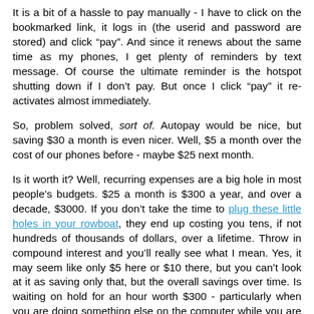It is a bit of a hassle to pay manually - I have to click on the bookmarked link, it logs in (the userid and password are stored) and click "pay".  And since it renews about the same time as my phones, I get plenty of reminders by text message.  Of course the ultimate reminder is the hotspot shutting down if I don't pay.  But once I click "pay" it re-activates almost immediately.
So, problem solved, sort of.  Autopay would be nice, but saving $30 a month is even nicer.  Well, $5 a month over the cost of our phones before - maybe $25 next month.
Is it worth it?  Well, recurring expenses are a big hole in most people's budgets.  $25 a month is $300 a year, and over a decade, $3000.  If you don't take the time to plug these little holes in your rowboat, they end up costing you tens, if not hundreds of thousands of dollars, over a lifetime.  Throw in compound interest and you'll really see what I mean.  Yes, it may seem like only $5 here or $10 there, but you can't look at it as saving only that, but the overall savings over time.  Is waiting on hold for an hour worth $300 - particularly when you are doing something else on the computer while you are waiting?  I don't think I ever made $300 an hour, lawyering...